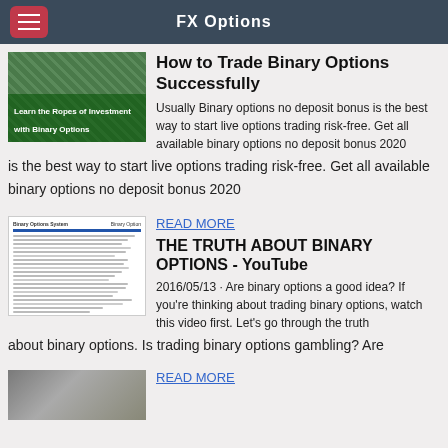FX Options
How to Trade Binary Options Successfully
Usually Binary options no deposit bonus is the best way to start live options trading risk-free. Get all available binary options no deposit bonus 2020
READ MORE
THE TRUTH ABOUT BINARY OPTIONS - YouTube
2016/05/13 · Are binary options a good idea? If you're thinking about trading binary options, watch this video first. Let's go through the truth about binary options. Is trading binary options gambling? Are
READ MORE